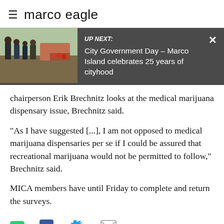marco eagle
[Figure (screenshot): Video banner showing UP NEXT: City Government Day – Marco Island celebrates 25 years of cityhood, with a thumbnail image of people outdoors on the left and a close button (X) on the right]
chairperson Erik Brechnitz looks at the medical marijuana dispensary issue, Brechnitz said.
"As I have suggested [...], I am not opposed to medical marijuana dispensaries per se if I could be assured that recreational marijuana would not be permitted to follow," Brechnitz said.
MICA members have until Friday to complete and return the surveys.
Share icons: txt, Facebook, Twitter, Email